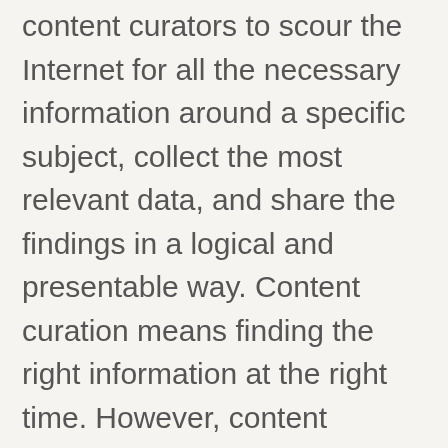content curators to scour the Internet for all the necessary information around a specific subject, collect the most relevant data, and share the findings in a logical and presentable way. Content curation means finding the right information at the right time. However, content curation does not involve generating content, but instead, researching and collecting content from a variety of trusted sources, and presenting it in an organized and logical way that the audience will respond to.